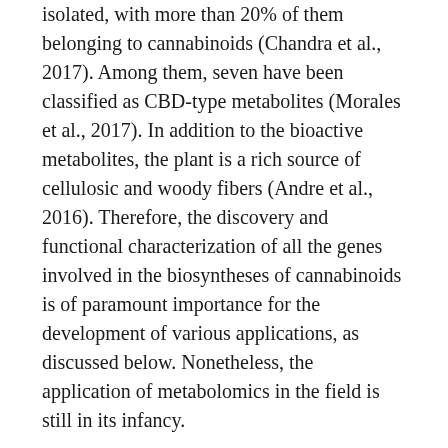isolated, with more than 20% of them belonging to cannabinoids (Chandra et al., 2017). Among them, seven have been classified as CBD-type metabolites (Morales et al., 2017). In addition to the bioactive metabolites, the plant is a rich source of cellulosic and woody fibers (Andre et al., 2016). Therefore, the discovery and functional characterization of all the genes involved in the biosyntheses of cannabinoids is of paramount importance for the development of various applications, as discussed below. Nonetheless, the application of metabolomics in the field is still in its infancy.
Federal provisions have a blindspot whereby a store can sell as much CBD as it wants, as long it doesn't make any health claims about its products, put it in food nor add it to dietary supplements. CBD, produced from marijuana plants, is legal in 15 states for recreational cannabis usage and in 36 states for